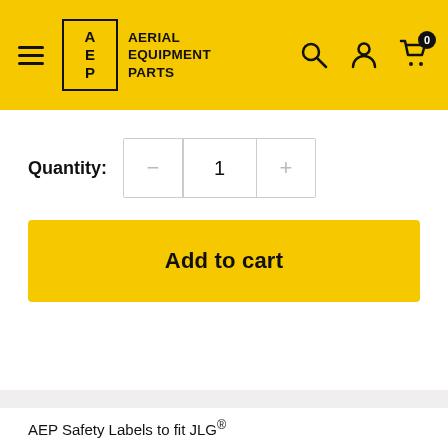AERIAL EQUIPMENT PARTS
Quantity: 1
Add to cart
AEP Safety Labels to fit JLG®
It is extremely important for the safety of your team and those around them that the 1701645 decal, on your JLG equipment is in good condition, visible and positioned...